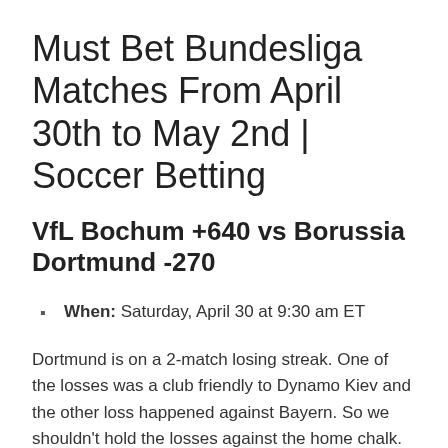Must Bet Bundesliga Matches From April 30th to May 2nd | Soccer Betting
VfL Bochum +640 vs Borussia Dortmund -270
When: Saturday, April 30 at 9:30 am ET
Dortmund is on a 2-match losing streak. One of the losses was a club friendly to Dynamo Kiev and the other loss happened against Bayern. So we shouldn't hold the losses against the home chalk.
Like Dortmund, Bochum has lost 2 straight. The road